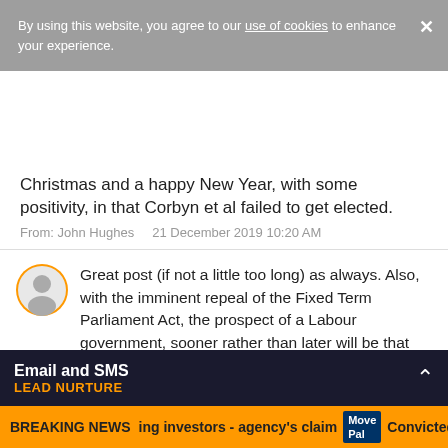By using this website, you agree to our use of cookies to enhance your experience.
Christmas and a happy New Year, with some positivity, in that Corbyn et al failed to get elected.
From: John Hughes   21 December 2019 10:20 AM
Great post (if not a little too long) as always. Also, with the imminent repeal of the Fixed Term Parliament Act, the prospect of a Labour government, sooner rather than later will be that much more of a reality, if they get their act together. Therefore I am taking your advice and selling one of my properties next year, with the intention of reducing my reliance on private rentals. My corporate rentals are doing well and I intend to go into holiday lets with a listed barn which I have on my ...potentially get a lot better ...
Email and SMS LEAD NURTURE
BREAKING NEWS  ing investors - agency's claim  MovePal  Convicted m...